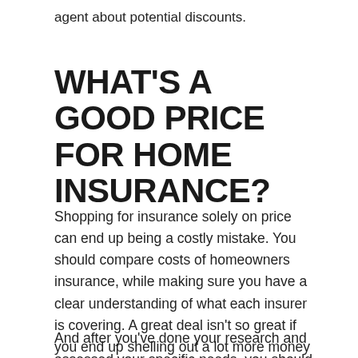agent about potential discounts.
WHAT'S A GOOD PRICE FOR HOME INSURANCE?
Shopping for insurance solely on price can end up being a costly mistake. You should compare costs of homeowners insurance, while making sure you have a clear understanding of what each insurer is covering. A great deal isn't so great if you end up shelling out a lot more money in the event of a major claim.
And after you've done your research and assessed your specific needs, you should be worry-free enough to